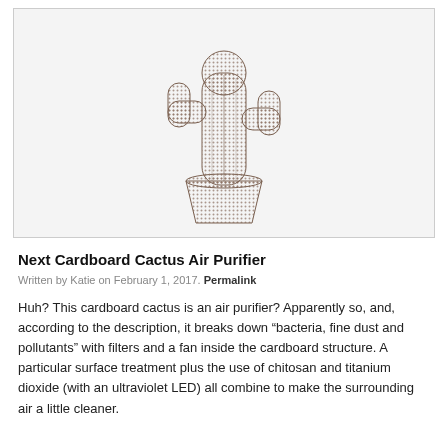[Figure (photo): A cardboard cactus-shaped air purifier in a cardboard pot, textured surface, tan/brown color, on a white background.]
Next Cardboard Cactus Air Purifier
Written by Katie on February 1, 2017. Permalink
Huh? This cardboard cactus is an air purifier? Apparently so, and, according to the description, it breaks down “bacteria, fine dust and pollutants” with filters and a fan inside the cardboard structure. A particular surface treatment plus the use of chitosan and titanium dioxide (with an ultraviolet LED) all combine to make the surrounding air a little cleaner.